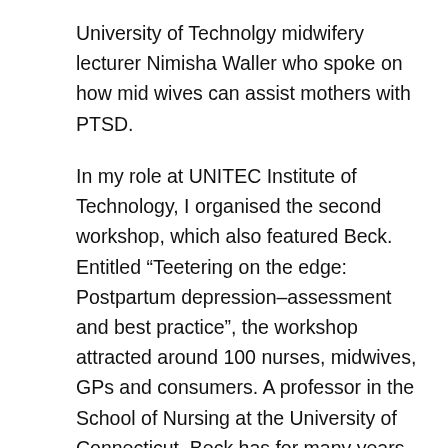University of Technolgy midwifery lecturer Nimisha Waller who spoke on how mid wives can assist mothers with PTSD.
In my role at UNITEC Institute of Technology, I organised the second workshop, which also featured Beck. Entitled “Teetering on the edge: Postpartum depression–assessment and best practice”, the workshop attracted around 100 nurses, midwives, GPs and consumers. A professor in the School of Nursing at the University of Connecticut, Beck has for many years focused her efforts on developing a research programme on postpartum depression. Using both qualitative and quantitative research methods, she has extensively researched this devastating mood disorder that affects many new mothers. Based on the findings